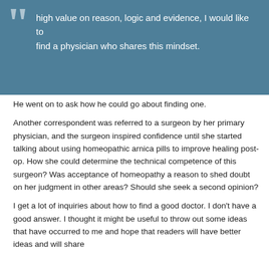high value on reason, logic and evidence, I would like to find a physician who shares this mindset.
He went on to ask how he could go about finding one.
Another correspondent was referred to a surgeon by her primary physician, and the surgeon inspired confidence until she started talking about using homeopathic arnica pills to improve healing post-op. How she could determine the technical competence of this surgeon? Was acceptance of homeopathy a reason to shed doubt on her judgment in other areas? Should she seek a second opinion?
I get a lot of inquiries about how to find a good doctor. I don't have a good answer. I thought it might be useful to throw out some ideas that have occurred to me and hope that readers will have better ideas and will share their experiences about what has or hasn't worked.
Back to top
What Do We Want in a Physician?